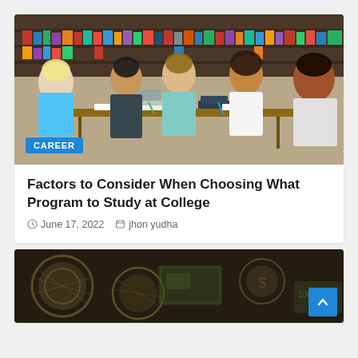[Figure (photo): Five diverse college students sitting around a table in a library, studying together with books and papers. A category badge labeled CAREER is overlaid in the lower left.]
Factors to Consider When Choosing What Program to Study at College
June 17, 2022   jhon yudha
[Figure (photo): Partial view of a dark background image showing coins and currency, partially visible at the bottom of the page. A blue back-to-top arrow button is overlaid in the lower right.]